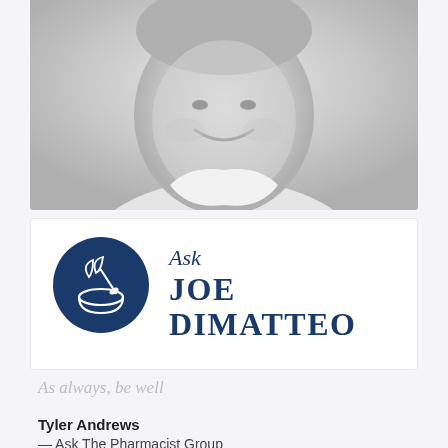[Figure (photo): Black and white portrait photo of a smiling man wearing a white garment, shown from shoulders up]
[Figure (logo): Logo for 'Ask Joe DiMatteo' featuring a dark blue speech bubble with a mortar and pestle icon, with text 'Ask JOE DIMATTEO' in dark navy serif font]
As always, be well
Tyler Andrews
— Ask The Pharmacist Group